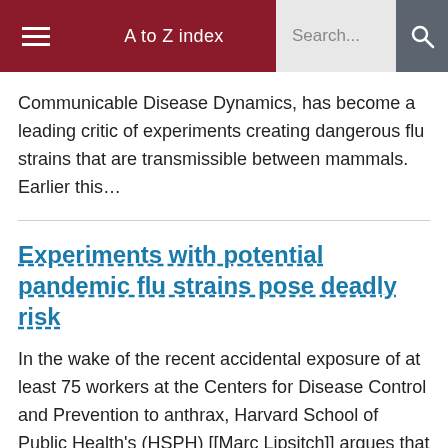A to Z index  Search...
Communicable Disease Dynamics, has become a leading critic of experiments creating dangerous flu strains that are transmissible between mammals. Earlier this…
Experiments with potential pandemic flu strains pose deadly risk
In the wake of the recent accidental exposure of at least 75 workers at the Centers for Disease Control and Prevention to anthrax, Harvard School of Public Health's (HSPH) [[Marc Lipsitch]] argues that experiments aimed at creating deadly…